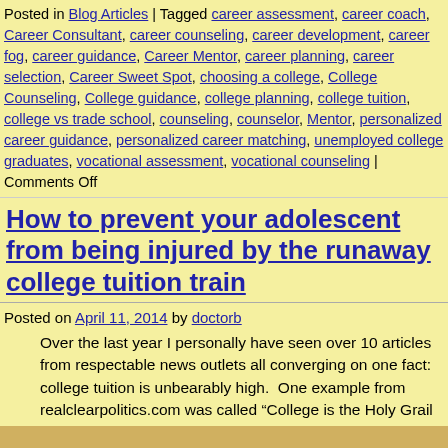Posted in Blog Articles | Tagged career assessment, career coach, Career Consultant, career counseling, career development, career fog, career guidance, Career Mentor, career planning, career selection, Career Sweet Spot, choosing a college, College Counseling, College guidance, college planning, college tuition, college vs trade school, counseling, counselor, Mentor, personalized career guidance, personalized career matching, unemployed college graduates, vocational assessment, vocational counseling | Comments Off
How to prevent your adolescent from being injured by the runaway college tuition train
Posted on April 11, 2014 by doctorb
Over the last year I personally have seen over 10 articles from respectable news outlets all converging on one fact: college tuition is unbearably high.  One example from realclearpolitics.com was called “College is the Holy Grail but should everyone go?” … Continue reading →
Posted in Blog Articles | Tagged career counseling, college tuition, vocational guidance | Comments Off